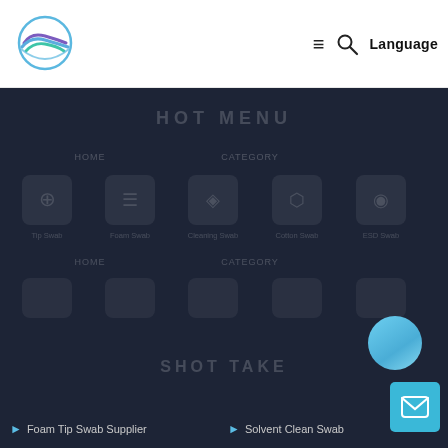[Figure (logo): Colorful wave/planet logo icon in blue, purple, and teal]
≡  🔍  Language
HOT MENU
[Figure (infographic): Dark background menu grid with small icons and labels - navigation menu items in a grid layout]
SHOT TAKE
Foam Tip Swab Supplier
Solvent Clean Swab